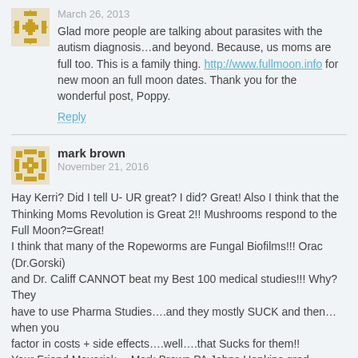March 26, 2013
Glad more people are talking about parasites with the autism diagnosis…and beyond. Because, us moms are full too. This is a family thing. http://www.fullmoon.info for new moon an full moon dates. Thank you for the wonderful post, Poppy.
Reply
mark brown
November 21, 2016
Hay Kerri? Did I tell U- UR great? I did? Great! Also I think that the Thinking Moms Revolution is Great 2!! Mushrooms respond to the Full Moon?=Great! I think that many of the Ropeworms are Fungal Biofilms!!! Orac (Dr.Gorski) and Dr. Califf CANNOT beat my Best 100 medical studies!!! Why? They have to use Pharma Studies….and they mostly SUCK and then…when you factor in costs + side effects….well….that Sucks for them!! Your Friend Maverick….Mark Brown PA Johns Hopkins grad…..